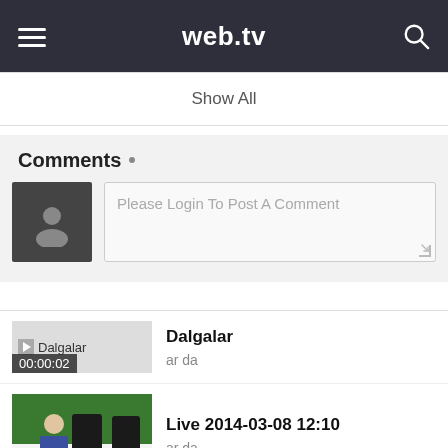web.tv
Show All
Comments
Please Login To Post A Comment
Dalgalar
ar da
00:00:02
Live 2014-03-08 12:10
ar da
00:03:52